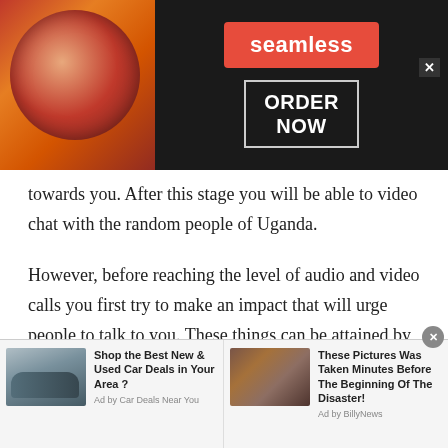[Figure (screenshot): Seamless food ordering advertisement banner with pizza image, red Seamless badge, and ORDER NOW button]
towards you. After this stage you will be able to video chat with the random people of Uganda.
However, before reaching the level of audio and video calls you first try to make an impact that will urge people to talk to you. These things can be attained by following mere things. For instance, share memes through multimedia options of talkwithstranger, staying active, giving advice to the people, and being helpful. These things leave a
[Figure (screenshot): Bottom advertisement bar with two ads: 'Shop the Best New & Used Car Deals in Your Area?' by Car Deals Near You, and 'These Pictures Was Taken Minutes Before The Beginning Of The Disaster!' by BillyNews]